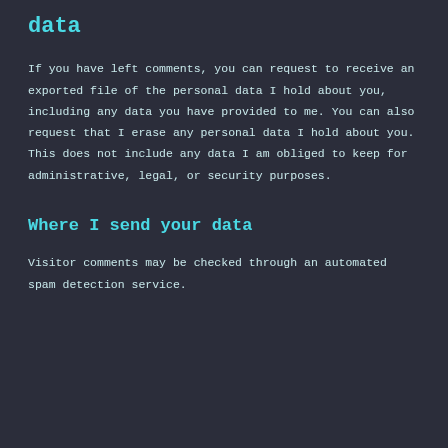data
If you have left comments, you can request to receive an exported file of the personal data I hold about you, including any data you have provided to me. You can also request that I erase any personal data I hold about you. This does not include any data I am obliged to keep for administrative, legal, or security purposes.
Where I send your data
Visitor comments may be checked through an automated spam detection service.